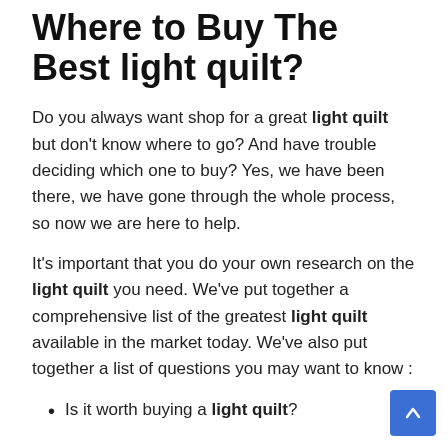Where to Buy The Best light quilt?
Do you always want shop for a great light quilt but don't know where to go? And have trouble deciding which one to buy? Yes, we have been there, we have gone through the whole process, so now we are here to help.
It's important that you do your own research on the light quilt you need. We've put together a comprehensive list of the greatest light quilt available in the market today. We've also put together a list of questions you may want to know :
Is it worth buying a light quilt?